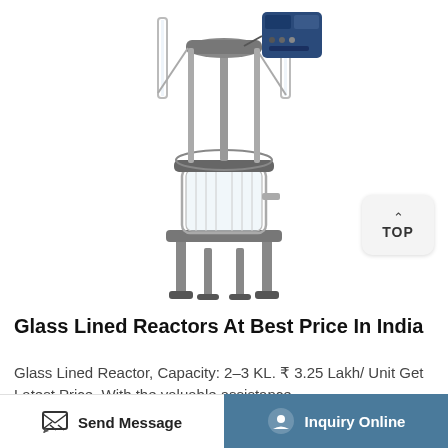[Figure (photo): A glass lined reactor / glass jacketed reactor equipment on metal stand, with electronic control panel on top right, multiple glass tubes, stirring mechanism, and transparent cylindrical glass body mounted on chrome support legs.]
Glass Lined Reactors At Best Price In India
Glass Lined Reactor, Capacity: 2–3 KL. ₹ 3.25 Lakh/ Unit Get Latest Price. With the valuable assistance